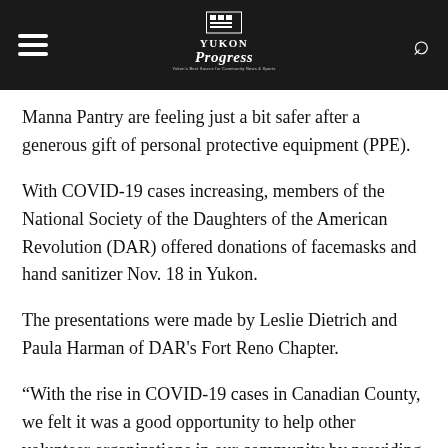Yukon Progress
Manna Pantry are feeling just a bit safer after a generous gift of personal protective equipment (PPE).
With COVID-19 cases increasing, members of the National Society of the Daughters of the American Revolution (DAR) offered donations of facemasks and hand sanitizer Nov. 18 in Yukon.
The presentations were made by Leslie Dietrich and Paula Harman of DAR's Fort Reno Chapter.
“With the rise in COVID-19 cases in Canadian County, we felt it was a good opportunity to help other volunteer organizations in our community by providing some PPE for their volunteers to keep them safe,” said Dietrich, Fort Reno’s